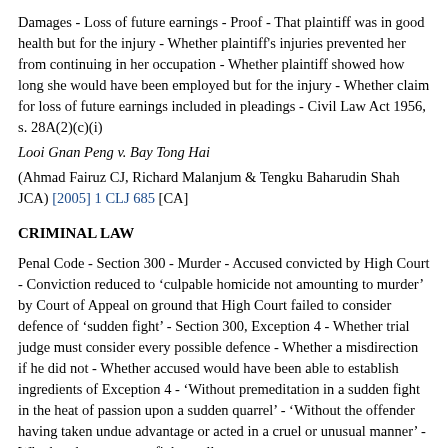Damages - Loss of future earnings - Proof - That plaintiff was in good health but for the injury - Whether plaintiff's injuries prevented her from continuing in her occupation - Whether plaintiff showed how long she would have been employed but for the injury - Whether claim for loss of future earnings included in pleadings - Civil Law Act 1956, s. 28A(2)(c)(i)
Looi Gnan Peng v. Bay Tong Hai
(Ahmad Fairuz CJ, Richard Malanjum & Tengku Baharudin Shah JCA) [2005] 1 CLJ 685 [CA]
CRIMINAL LAW
Penal Code - Section 300 - Murder - Accused convicted by High Court - Conviction reduced to 'culpable homicide not amounting to murder' by Court of Appeal on ground that High Court failed to consider defence of 'sudden fight' - Section 300, Exception 4 - Whether trial judge must consider every possible defence - Whether a misdirection if he did not - Whether accused would have been able to establish ingredients of Exception 4 - 'Without premeditation in a sudden fight in the heat of passion upon a sudden quarrel' - 'Without the offender having taken undue advantage or acted in a cruel or unusual manner' - Whether there was any fight at all
PP v. Awang Raduan Awang Bol
(Steve Shim CJ (Sabah & Sarawak), Abdul Hamid Mohamad &